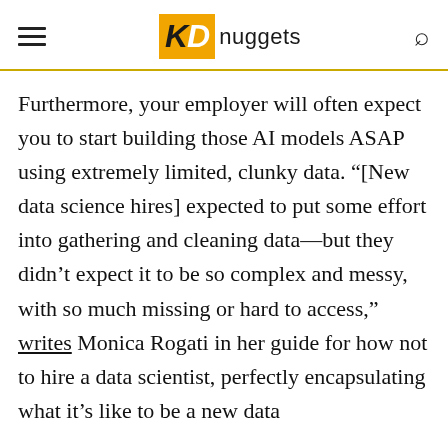KDnuggets
Furthermore, your employer will often expect you to start building those AI models ASAP using extremely limited, clunky data. “[New data science hires] expected to put some effort into gathering and cleaning data—but they didn’t expect it to be so complex and messy, with so much missing or hard to access,” writes Monica Rogati in her guide for how not to hire a data scientist, perfectly encapsulating what it’s like to be a new data